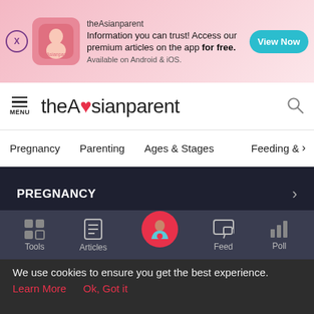[Figure (screenshot): theAsianparent app promotional ad banner with pink gradient background, app icon, text and View Now button]
theAsianparent — MENU navigation bar with hamburger icon, logo, and search icon
Pregnancy
Parenting
Ages & Stages
Feeding &
PREGNANCY >
FAMILY OCCASIONS >
LIFESTYLE >
NORMAL DELIVERY >
[Figure (screenshot): Bottom navigation toolbar with Tools, Articles, home button (pregnant woman icon), Feed, and Poll icons]
We use cookies to ensure you get the best experience.
Learn More    Ok, Got it